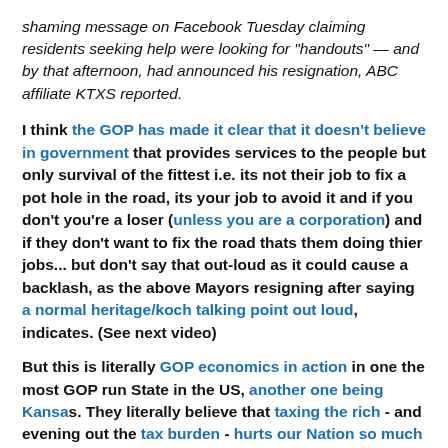shaming message on Facebook Tuesday claiming residents seeking help were looking for "handouts" — and by that afternoon, had announced his resignation, ABC affiliate KTXS reported.
I think the GOP has made it clear that it doesn't believe in government that provides services to the people but only survival of the fittest i.e. its not their job to fix a pot hole in the road, its your job to avoid it and if you don't you're a loser (unless you are a corporation) and if they don't want to fix the road thats them doing thier jobs... but don't say that out-loud as it could cause a backlash, as the above Mayors resigning after saying a normal heritage/koch talking point out loud, indicates. (See next video)
But this is literally GOP economics in action in one the most GOP run State in the US, another one being Kansass. They literally believe that taxing the rich - and evening out the tax burden - hurts our Nation so much that cutting expenses that would arise by making infrastructure investments or making safety an issue is